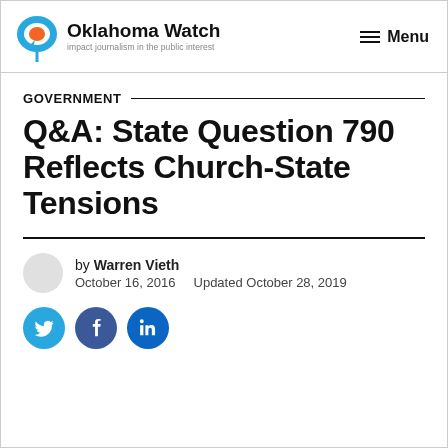Oklahoma Watch — impact journalism in the public interest | Menu
GOVERNMENT
Q&A: State Question 790 Reflects Church-State Tensions
by Warren Vieth
October 16, 2016    Updated October 28, 2019